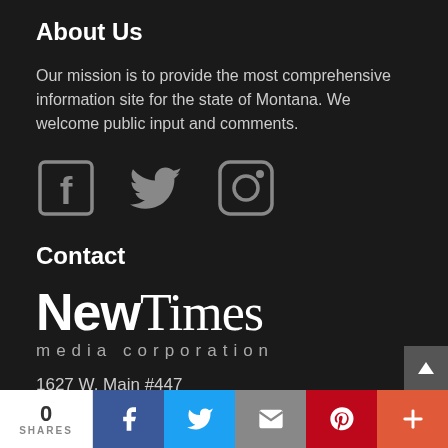About Us
Our mission is to provide the most comprehensive information site for the state of Montana. We welcome public input and comments.
[Figure (illustration): Three social media icons: Facebook (square with f), Twitter (bird), Instagram (camera)]
Contact
[Figure (logo): NewTimes media corporation logo — 'New' in bold sans-serif, 'Times' in light serif, 'media corporation' in spaced light sans-serif below]
1627 W. Main #447
0 SHARES  [Facebook] [Twitter] [Email] [Pinterest] [More]